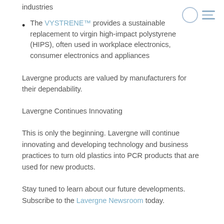The VYSTRENE™ provides a sustainable replacement to virgin high-impact polystyrene (HIPS), often used in workplace electronics, consumer electronics and appliances
Lavergne products are valued by manufacturers for their dependability.
Lavergne Continues Innovating
This is only the beginning. Lavergne will continue innovating and developing technology and business practices to turn old plastics into PCR products that are used for new products.
Stay tuned to learn about our future developments. Subscribe to the Lavergne Newsroom today.